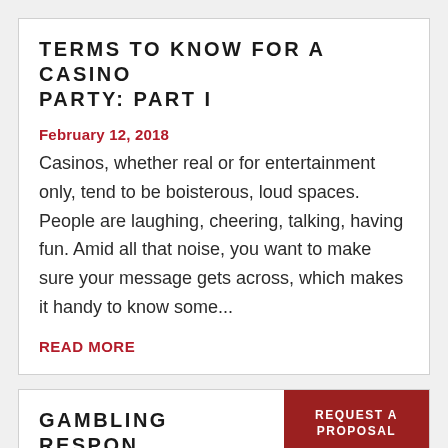TERMS TO KNOW FOR A CASINO PARTY: PART I
February 12, 2018
Casinos, whether real or for entertainment only, tend to be boisterous, loud spaces. People are laughing, cheering, talking, having fun. Amid all that noise, you want to make sure your message gets across, which makes it handy to know some...
READ MORE
GAMBLING RESPON... WORK PARTY
REQUEST A PROPOSAL